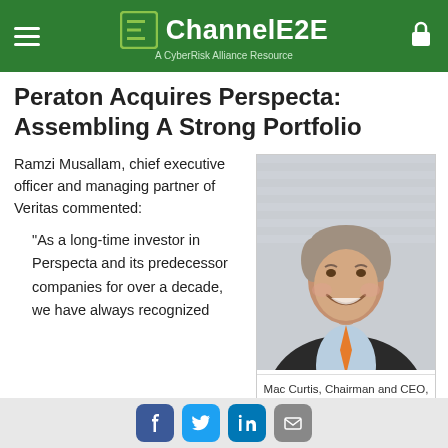ChannelE2E — A CyberRisk Alliance Resource
Peraton Acquires Perspecta: Assembling A Strong Portfolio
Ramzi Musallam, chief executive officer and managing partner of Veritas commented:
“As a long-time investor in Perspecta and its predecessor companies for over a decade, we have always recognized
[Figure (photo): Headshot of Mac Curtis, Chairman and CEO of Perspecta, smiling, wearing a dark suit and orange tie]
Mac Curtis, Chairman and CEO, Perspecta
Social sharing icons: Facebook, Twitter, LinkedIn, Email